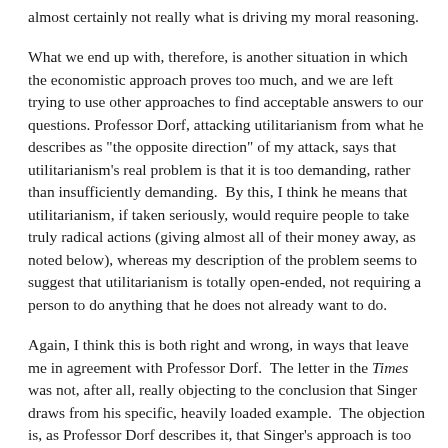almost certainly not really what is driving my moral reasoning.
What we end up with, therefore, is another situation in which the economistic approach proves too much, and we are left trying to use other approaches to find acceptable answers to our questions. Professor Dorf, attacking utilitarianism from what he describes as "the opposite direction" of my attack, says that utilitarianism's real problem is that it is too demanding, rather than insufficiently demanding.  By this, I think he means that utilitarianism, if taken seriously, would require people to take truly radical actions (giving almost all of their money away, as noted below), whereas my description of the problem seems to suggest that utilitarianism is totally open-ended, not requiring a person to do anything that he does not already want to do.
Again, I think this is both right and wrong, in ways that leave me in agreement with Professor Dorf.  The letter in the Times was not, after all, really objecting to the conclusion that Singer draws from his specific, heavily loaded example.  The objection is, as Professor Dorf describes it, that Singer's approach is too demanding.  If we use Singer to justify donating to fight trachoma rather than giving to build a wing on an art museum, how do we